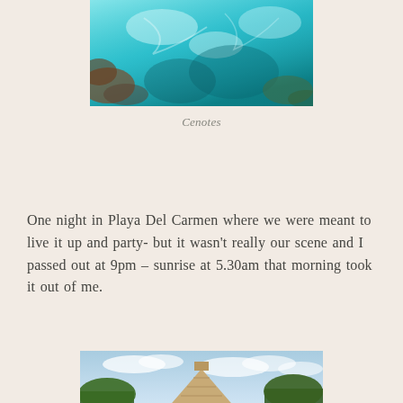[Figure (photo): Aerial or close-up view of turquoise blue water, possibly a cenote with clear water and coral/rocks visible beneath the surface.]
Cenotes
One night in Playa Del Carmen where we were meant to live it up and party- but it wasn't really our scene and I passed out at 9pm – sunrise at 5.30am that morning took it out of me.
[Figure (photo): Photo of a Mayan pyramid (Chichen Itza) with blue sky and trees in the background.]